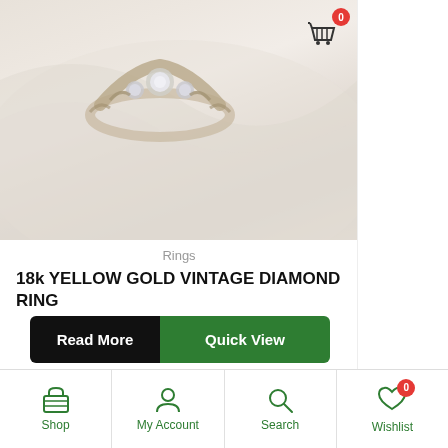[Figure (photo): Close-up photo of an 18k yellow gold vintage diamond ring with multiple stones set in ornate metalwork, placed on a white satin fabric background. Shopping cart icon with badge showing 0 in top right corner of image.]
Rings
18k YELLOW GOLD VINTAGE DIAMOND RING
Read More | Quick View
Shop | My Account | Search | Wishlist